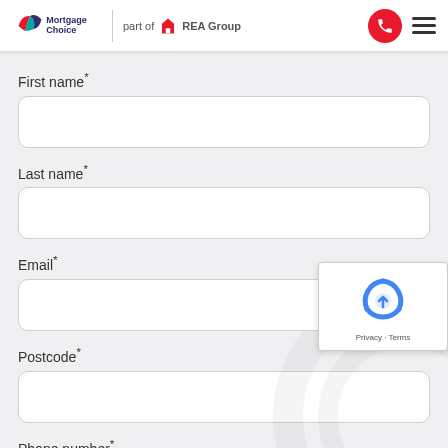Mortgage Choice – part of REA Group
First name*
Last name*
Email*
Postcode*
Phone number*